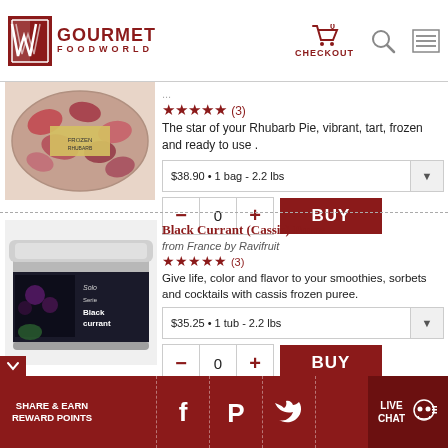GOURMET FOODWORLD — Checkout 0
[Figure (photo): Frozen rhubarb pieces in a clear plastic bag with label]
★★★★★ (3)
The star of your Rhubarb Pie, vibrant, tart, frozen and ready to use .
$38.90 • 1 bag - 2.2 lbs
[Figure (photo): Black currant puree in a rectangular silver tub labeled Blackcurrant]
Black Currant (Cassis) Puree
from France by Ravifruit
★★★★★ (3)
Give life, color and flavor to your smoothies, sorbets and cocktails with cassis frozen puree.
$35.25 • 1 tub - 2.2 lbs
Raspberry Puree
by Ravifruit
(3)
SHARE & EARN REWARD POINTS | LIVE CHAT